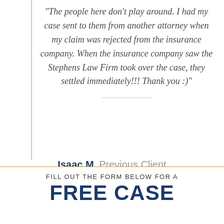"The people here don't play around. I had my case sent to them from another attorney when my claim was rejected from the insurance company. When the insurance company saw the Stephens Law Firm took over the case, they settled immediately!!! Thank you :)"
Isaac M. Previous Client
VIEW ALL
FILL OUT THE FORM BELOW FOR A
FREE CASE